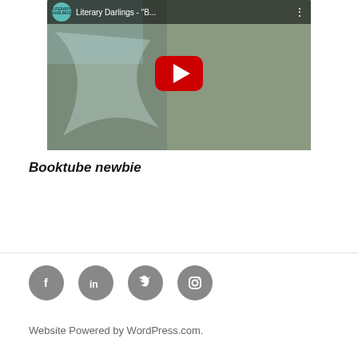[Figure (screenshot): YouTube video thumbnail for Literary Darlings channel showing a woman with long hair, with the YouTube play button overlay and video title bar at top reading 'Literary Darlings - B...']
Booktube newbie
[Figure (infographic): Row of four social media icon circles (Facebook, LinkedIn, Twitter, Instagram) in grey]
Website Powered by WordPress.com.